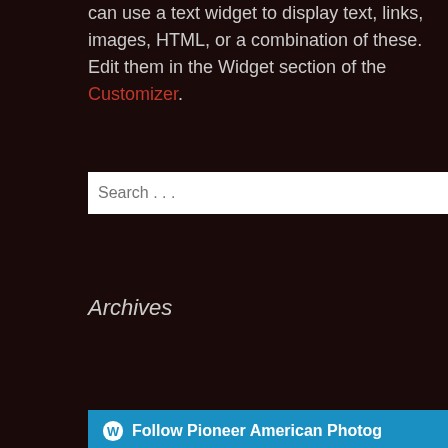can use a text widget to display text, links, images, HTML, or a combination of these. Edit them in the Widget section of the Customizer.
[Figure (screenshot): Search input box with placeholder text 'Search ...']
Archives
[Figure (screenshot): Dropdown select menu with 'Select Month' option]
[Figure (screenshot): Blue button with WordPress icon reading 'Follow Pioneer American Photog']